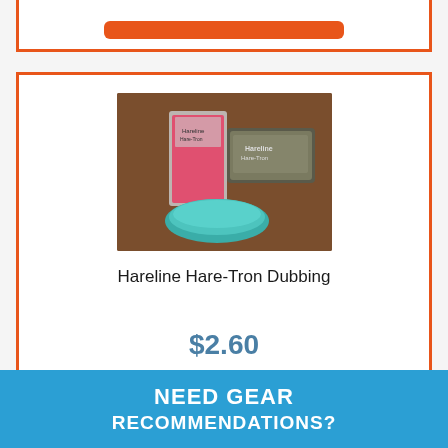[Figure (other): Top portion of a product card with orange View Product button, partially cropped at top of page]
[Figure (photo): Product photo of Hareline Hare-Tron Dubbing showing pink dubbing packet and teal dubbing material on a wooden surface]
Hareline Hare-Tron Dubbing
$2.60
View Product
[Figure (photo): Bottom partial product card with dark product image, cropped at bottom of page]
NEED GEAR RECOMMENDATIONS?